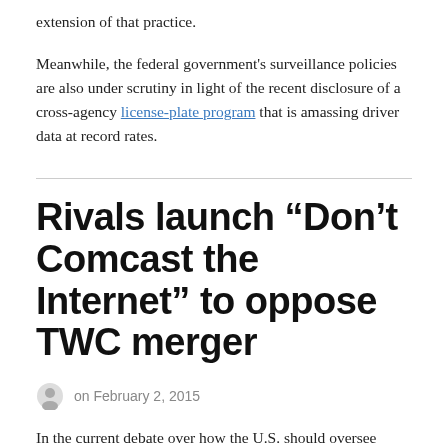extension of that practice.
Meanwhile, the federal government's surveillance policies are also under scrutiny in light of the recent disclosure of a cross-agency license-plate program that is amassing driver data at record rates.
Rivals launch “Don’t Comcast the Internet” to oppose TWC merger
on February 2, 2015
In the current debate over how the U.S. should oversee